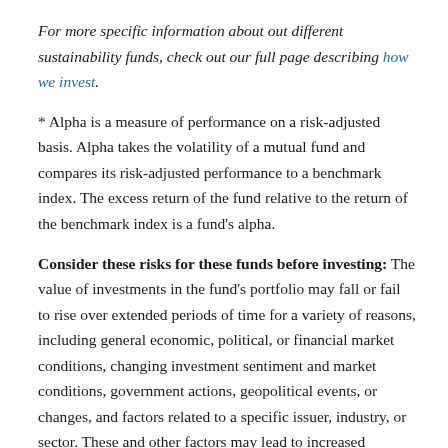For more specific information about out different sustainability funds, check out our full page describing how we invest.
* Alpha is a measure of performance on a risk-adjusted basis. Alpha takes the volatility of a mutual fund and compares its risk-adjusted performance to a benchmark index. The excess return of the fund relative to the return of the benchmark index is a fund's alpha.
Consider these risks for these funds before investing: The value of investments in the fund's portfolio may fall or fail to rise over extended periods of time for a variety of reasons, including general economic, political, or financial market conditions, changing investment sentiment and market conditions, government actions, geopolitical events, or changes, and factors related to a specific issuer, industry, or sector. These and other factors may lead to increased volatility and reduced liquidity in the fund's portfolio